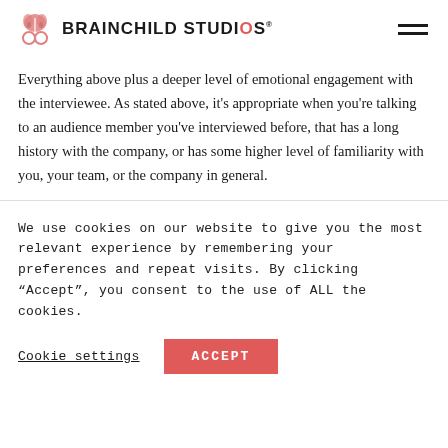BRAINCHILD STUDIOS
Everything above plus a deeper level of emotional engagement with the interviewee. As stated above, it's appropriate when you're talking to an audience member you've interviewed before, that has a long history with the company, or has some higher level of familiarity with you, your team, or the company in general.
We use cookies on our website to give you the most relevant experience by remembering your preferences and repeat visits. By clicking “Accept”, you consent to the use of ALL the cookies.
Cookie settings  ACCEPT